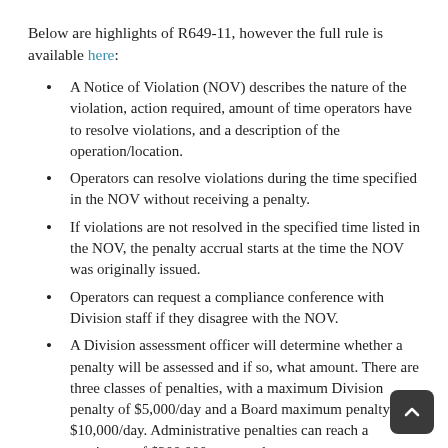Below are highlights of R649-11, however the full rule is available here:
A Notice of Violation (NOV) describes the nature of the violation, action required, amount of time operators have to resolve violations, and a description of the operation/location.
Operators can resolve violations during the time specified in the NOV without receiving a penalty.
If violations are not resolved in the specified time listed in the NOV, the penalty accrual starts at the time the NOV was originally issued.
Operators can request a compliance conference with Division staff if they disagree with the NOV.
A Division assessment officer will determine whether a penalty will be assessed and if so, what amount. There are three classes of penalties, with a maximum Division penalty of $5,000/day and a Board maximum penalty of $10,000/day. Administrative penalties can reach a maximum of $200,000 per penalty.
Operators can appeal penalties to the UBOGM.